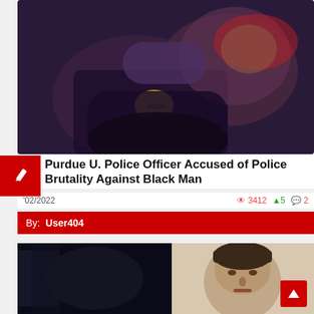[Figure (photo): Photo of a police officer in dark uniform with a yellow badge patch restraining a person, dark/nighttime scene]
Purdue U. Police Officer Accused of Police Brutality Against Black Man
02/2022   👁 3412  ▲5  💬 2
By: User404
[Figure (photo): Split image: left side shows a dark scene, right side shows a man's face (light complexion, dark hair)]